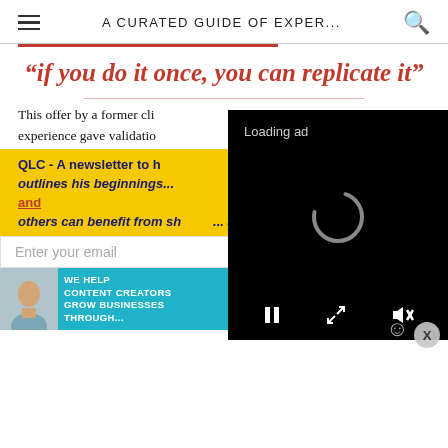A CURATED GUIDE OF EXPER...
“if you do it once, you can replicate it”
This offer by a former cli... writing in the strength tra... experience gave validatio...
QLC - A newsletter to h... outlines his beginnings... and... others can benefit from sharing... alma mater, story, sounds, and
Enter your email
[Figure (screenshot): Loading ad video overlay with spinner, pause, expand, and mute controls on black background]
[Figure (infographic): SHE Partner Network advertisement banner: We help content creators grow businesses through... Learn More button]